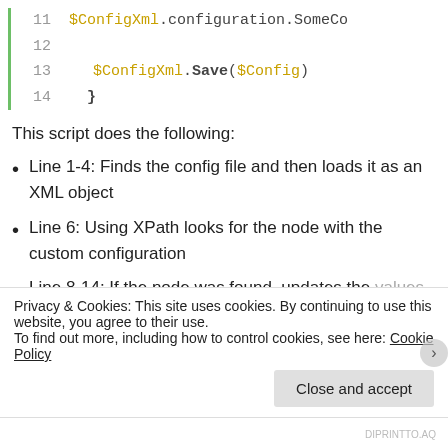[Figure (screenshot): Code block showing lines 11-14 of a PowerShell script. Line 11: $ConfigXml.configuration.SomeCo (truncated), Line 12: empty, Line 13: $ConfigXml.Save($Config), Line 14: }]
This script does the following:
Line 1-4: Finds the config file and then loads it as an XML object
Line 6: Using XPath looks for the node with the custom configuration
Line 8-14: If the node was found, updates the values of the custom keys, and then saves the
Privacy & Cookies: This site uses cookies. By continuing to use this website, you agree to their use.
To find out more, including how to control cookies, see here: Cookie Policy